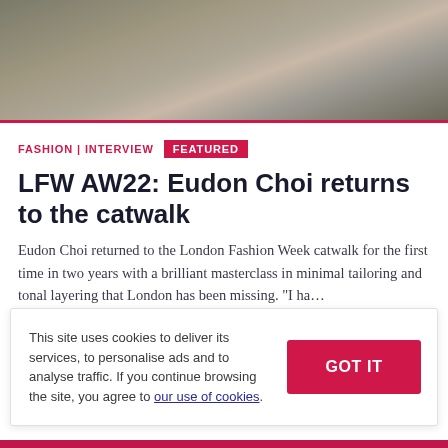[Figure (photo): Blurred fashion/catwalk photograph, muted greens and earth tones]
FASHION | INTERVIEW   FEATURED
LFW AW22: Eudon Choi returns to the catwalk
Eudon Choi returned to the London Fashion Week catwalk for the first time in two years with a brilliant masterclass in minimal tailoring and tonal layering that London has been missing. “I ha…
23 Feb 2022
This site uses cookies to deliver its services, to personalise ads and to analyse traffic. If you continue browsing the site, you agree to our use of cookies.